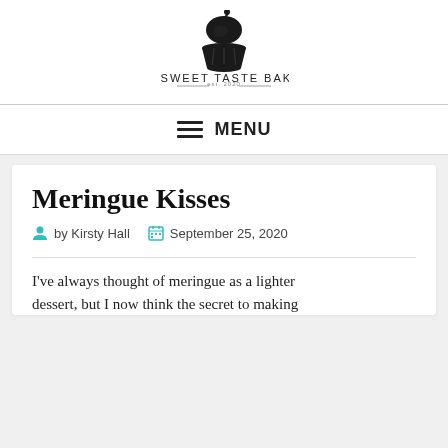[Figure (logo): The Sweet Taste Bakery logo: cupcake icon above text reading THE SWEET TASTE BAKERY, est. 2020]
≡ MENU
Meringue Kisses
by Kirsty Hall  September 25, 2020
I've always thought of meringue as a lighter dessert, but I now think the secret to making...